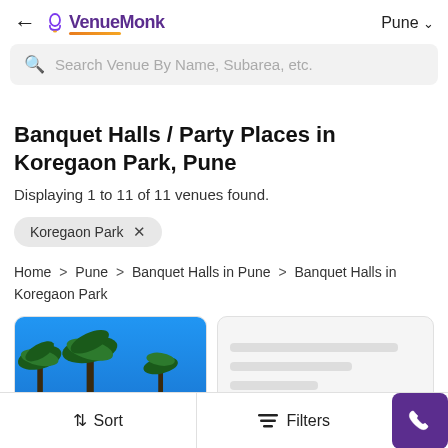← VenueMonk  Pune ∨
Search Venue By Name, Subarea, etc.
Banquet Halls / Party Places in Koregaon Park, Pune
Displaying 1 to 11 of 11 venues found.
Koregaon Park ✕
Home > Pune > Banquet Halls in Pune > Banquet Halls in Koregaon Park
[Figure (photo): Photo of palm trees against blue sky, venue card image]
[Figure (other): Placeholder card with grey lines representing blurred venue info]
↑↓ Sort    ≡ Filters    📞